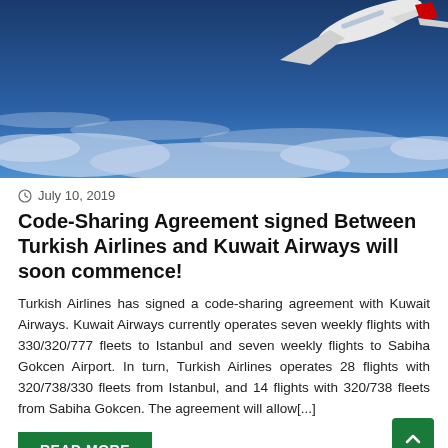[Figure (photo): Aerial photo of an airplane (with red tail fin visible) flying over blue ocean with clouds below]
July 10, 2019
Code-Sharing Agreement signed Between Turkish Airlines and Kuwait Airways will soon commence!
Turkish Airlines has signed a code-sharing agreement with Kuwait Airways. Kuwait Airways currently operates seven weekly flights with 330/320/777 fleets to Istanbul and seven weekly flights to Sabiha Gokcen Airport. In turn, Turkish Airlines operates 28 flights with 320/738/330 fleets from Istanbul, and 14 flights with 320/738 fleets from Sabiha Gokcen. The agreement will allow[...]